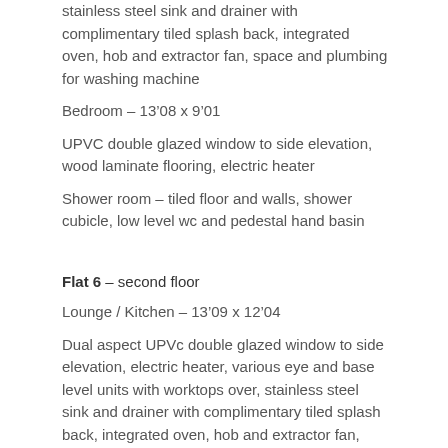stainless steel sink and drainer with complimentary tiled splash back, integrated oven, hob and extractor fan, space and plumbing for washing machine
Bedroom – 13’08 x 9’01
UPVC double glazed window to side elevation, wood laminate flooring, electric heater
Shower room – tiled floor and walls, shower cubicle, low level wc and pedestal hand basin
Flat 6 – second floor
Lounge / Kitchen – 13’09 x 12’04
Dual aspect UPVc double glazed window to side elevation, electric heater, various eye and base level units with worktops over, stainless steel sink and drainer with complimentary tiled splash back, integrated oven, hob and extractor fan, space and